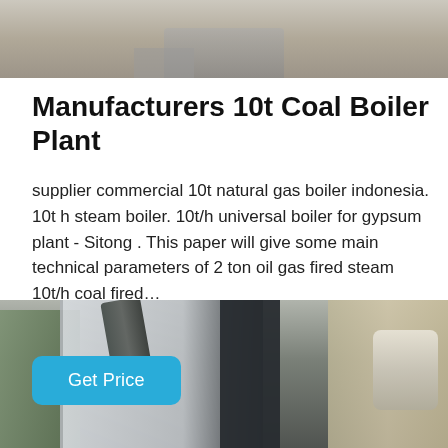[Figure (photo): Top partial photo of industrial boiler equipment in a facility, showing metallic components against a light background]
Manufacturers 10t Coal Boiler Plant
supplier commercial 10t natural gas boiler indonesia. 10t h steam boiler. 10t/h universal boiler for gypsum plant - Sitong . This paper will give some main technical parameters of 2 ton oil gas fired steam 10t/h coal fired…
[Figure (photo): Bottom partial photo of large industrial boiler equipment inside a factory building, showing white and black machinery components]